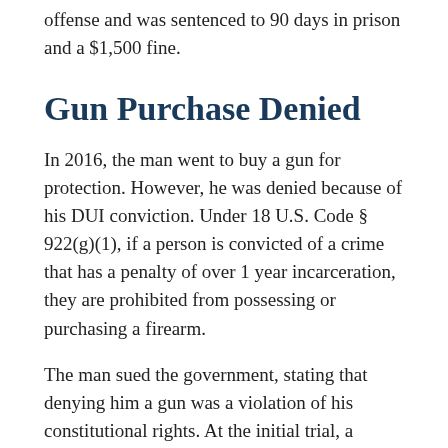offense and was sentenced to 90 days in prison and a $1,500 fine.
Gun Purchase Denied
In 2016, the man went to buy a gun for protection. However, he was denied because of his DUI conviction. Under 18 U.S. Code § 922(g)(1), if a person is convicted of a crime that has a penalty of over 1 year incarceration, they are prohibited from possessing or purchasing a firearm.
The man sued the government, stating that denying him a gun was a violation of his constitutional rights. At the initial trial, a district court judge agreed with the man and said 18 U.S. Code § 192(g)(1) was wrongly applied.